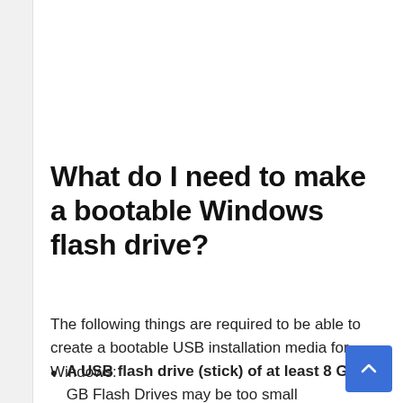What do I need to make a bootable Windows flash drive?
The following things are required to be able to create a bootable USB installation media for Windows:
A USB flash drive (stick) of at least 8 GB. 4 GB Flash Drives may be too small